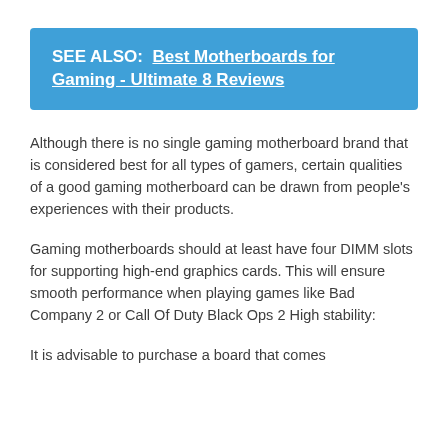SEE ALSO:  Best Motherboards for Gaming - Ultimate 8 Reviews
Although there is no single gaming motherboard brand that is considered best for all types of gamers, certain qualities of a good gaming motherboard can be drawn from people's experiences with their products.
Gaming motherboards should at least have four DIMM slots for supporting high-end graphics cards. This will ensure smooth performance when playing games like Bad Company 2 or Call Of Duty Black Ops 2 High stability:
It is advisable to purchase a board that comes